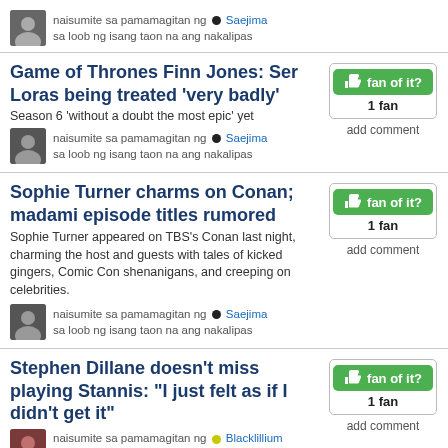naisumite sa pamamagitan ng • Saejima
sa loob ng isang taon na ang nakalipas
Game of Thrones Finn Jones: Ser Loras being treated 'very badly'
Season 6 'without a doubt the most epic' yet
naisumite sa pamamagitan ng • Saejima
sa loob ng isang taon na ang nakalipas
Sophie Turner charms on Conan; madami episode titles rumored
Sophie Turner appeared on TBS's Conan last night, charming the host and guests with tales of kicked gingers, Comic Con shenanigans, and creeping on celebrities.
naisumite sa pamamagitan ng • Saejima
sa loob ng isang taon na ang nakalipas
Stephen Dillane doesn't miss playing Stannis: "I just felt as if I didn't get it"
naisumite sa pamamagitan ng • Blacklillium
sa loob ng isang taon na ang nakalipas
GOT season 6 spoiler: How the hell do these two characters meet in the